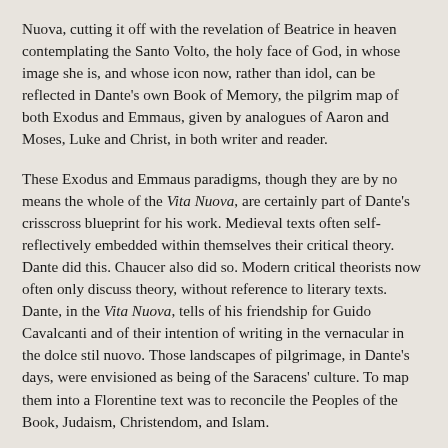Nuova, cutting it off with the revelation of Beatrice in heaven contemplating the Santo Volto, the holy face of God, in whose image she is, and whose icon now, rather than idol, can be reflected in Dante's own Book of Memory, the pilgrim map of both Exodus and Emmaus, given by analogues of Aaron and Moses, Luke and Christ, in both writer and reader.
These Exodus and Emmaus paradigms, though they are by no means the whole of the Vita Nuova, are certainly part of Dante's crisscross blueprint for his work. Medieval texts often self-reflectively embedded within themselves their critical theory. Dante did this. Chaucer also did so. Modern critical theorists now often only discuss theory, without reference to literary texts. Dante, in the Vita Nuova, tells of his friendship for Guido Cavalcanti and of their intention of writing in the vernacular in the dolce stil nuovo. Those landscapes of pilgrimage, in Dante's days, were envisioned as being of the Saracens' culture. To map them into a Florentine text was to reconcile the Peoples of the Book, Judaism, Christendom, and Islam.